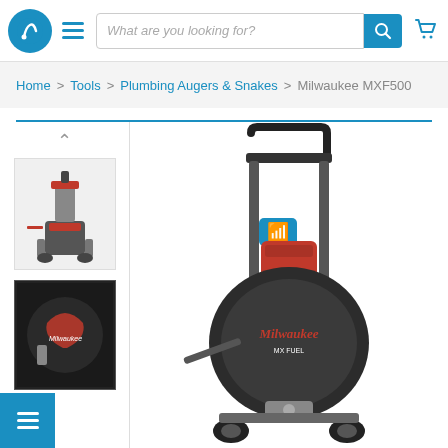Navigation header with logo, hamburger menu, search bar, and cart icon
What are you looking for?
Home > Tools > Plumbing Augers & Snakes > Milwaukee MXF500
[Figure (photo): Milwaukee MXF500 drain cleaning machine - thumbnail view 1, red and black machine on stand]
[Figure (photo): Milwaukee MXF500 drain cleaning machine - thumbnail view 2, close-up dark angle]
[Figure (photo): Milwaukee MXF500 drain cleaning machine - main large product image showing full unit with handle, cable drum, and wheels]